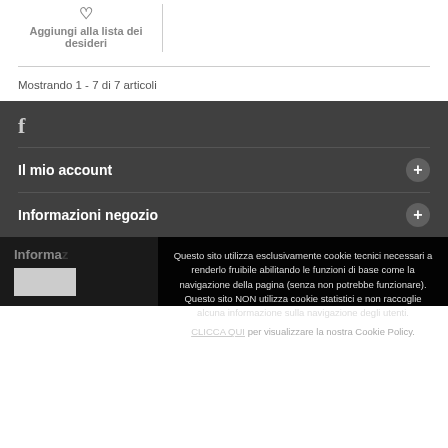Aggiungi alla lista dei desideri
Mostrando 1 - 7 di 7 articoli
[Figure (logo): Facebook logo icon (letter f) in grey]
Il mio account
Informazioni negozio
Questo sito utilizza esclusivamente cookie tecnici necessari a renderlo fruibile abilitando le funzioni di base come la navigazione della pagina (senza non potrebbe funzionare). Questo sito NON utilizza cookie statistici e non raccoglie alcuna informazione sulla navigazione degli utenti.
CLICCA QUI per visualizzare la nostra Cookie Policy.